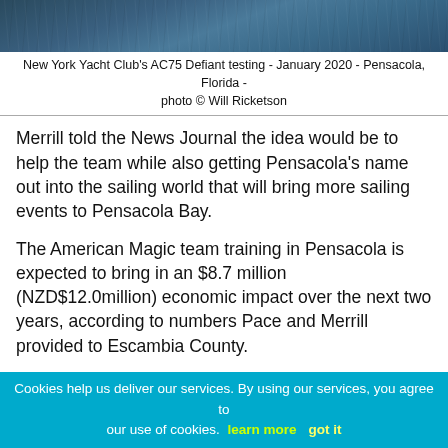[Figure (photo): Aerial or water-level photo of New York Yacht Club's AC75 Defiant sailboat testing on water, blue-grey tones]
New York Yacht Club's AC75 Defiant testing - January 2020 - Pensacola, Florida - photo © Will Ricketson
Merrill told the News Journal the idea would be to help the team while also getting Pensacola's name out into the sailing world that will bring more sailing events to Pensacola Bay.
The American Magic team training in Pensacola is expected to bring in an $8.7 million (NZD$12.0million) economic impact over the next two years, according to numbers Pace and Merrill provided to Escambia County.
The team will have about 60 permanent members living in Pensacola with their families plus an additional 30 team members for temporary periods.
Pace said most sports marketing is done on a "leap of faith" that there will be a return to the sponsor, but in this case, there's already going to be a return to the community.
Cookies help us deliver our services. By using our services, you agree to our use of cookies. learn more    got it